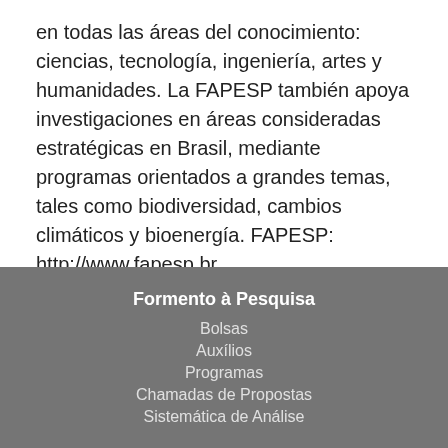en todas las áreas del conocimiento: ciencias, tecnología, ingeniería, artes y humanidades. La FAPESP también apoya investigaciones en áreas consideradas estratégicas en Brasil, mediante programas orientados a grandes temas, tales como biodiversidad, cambios climáticos y bioenergía. FAPESP: http://www.fapesp.br.
Fonte: https://www.techapeek.com/2018/11/10/salmonella-found-to-be-resistant-to-different-classes-of-antibiotics/
Formento à Pesquisa
Bolsas
Auxílios
Programas
Chamadas de Propostas
Sistemática de Análise